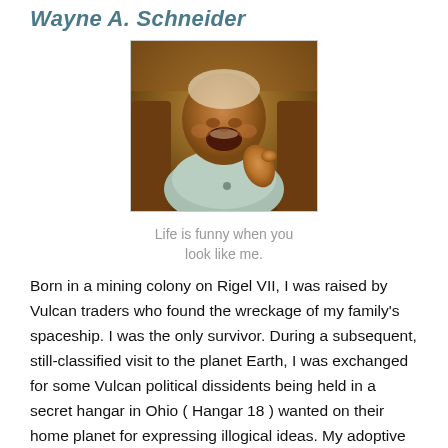Wayne A. Schneider
[Figure (photo): Photo of a laughing baby/toddler in a light blue outfit, appearing to be in a seat or chair, with mouth open wide laughing.]
Life is funny when you look like me.
Born in a mining colony on Rigel VII, I was raised by Vulcan traders who found the wreckage of my family's spaceship. I was the only survivor. During a subsequent, still-classified visit to the planet Earth, I was exchanged for some Vulcan political dissidents being held in a secret hangar in Ohio ( Hangar 18 ) wanted on their home planet for expressing illogical ideas. My adoptive Earth family raised me as one of their own, never telling me my true